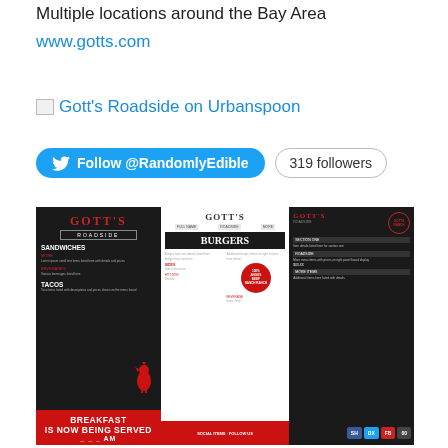Multiple locations around the Bay Area
www.gotts.com
[Figure (other): Broken image icon followed by link text 'Gott's Roadside on Urbanspoon']
Follow @RandomlyEdible  319 followers
[Figure (photo): Photo of three Gott's Roadside menu boards mounted on a dark wood wall. Left board is dark with red and white text showing Sandwiches, Tacos sections and a 'Breakfast is Now Being Served' banner in red. Center board is white showing Gott's Burgers menu. Right board is dark showing additional menu items with social media icons at bottom.]